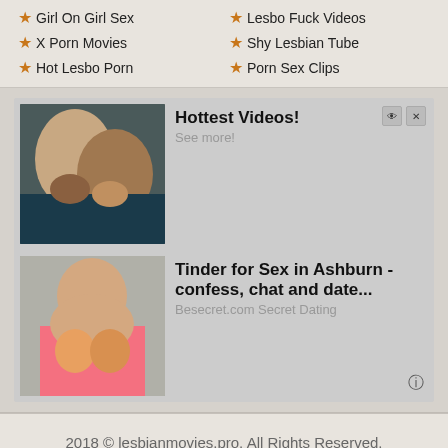★ Girl On Girl Sex
★ Lesbo Fuck Videos
★ X Porn Movies
★ Shy Lesbian Tube
★ Hot Lesbo Porn
★ Porn Sex Clips
[Figure (photo): Advertisement banner with two image panels. Top panel: two women lying together. Text reads 'Hottest Videos! See more!'. Bottom panel: woman in pink top. Text reads 'Tinder for Sex in Ashburn - confess, chat and date... Besecret.com Secret Dating'.]
2018 © lesbianmovies.pro. All Rights Reserved.